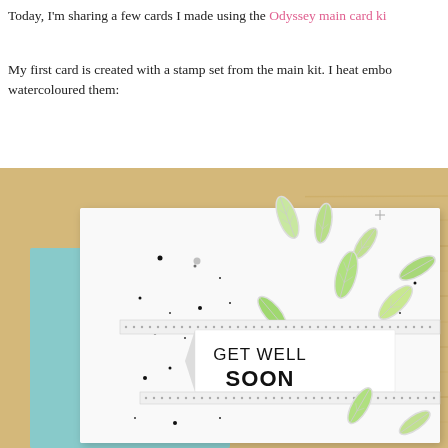Today, I'm sharing a few cards I made using the Odyssey main card ki...
My first card is created with a stamp set from the main kit. I heat embo... watercoloured them:
[Figure (photo): A handmade greeting card on a wooden background with teal paper accent. The white card features watercoloured green leaves stamped and die-cut, scattered black ink dots, and a banner reading GET WELL SOON in bold black text, framed by a dotted washi tape strip.]